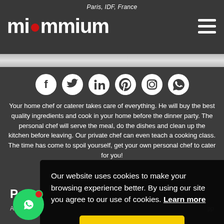Paris, IDF, France
[Figure (logo): miammium logo in white with red heart icon]
[Figure (infographic): Row of 6 social media icons: Facebook, Twitter, LinkedIn, Pinterest, Instagram, WhatsApp]
Your home chef or caterer takes care of everything. He will buy the best quality ingredients and cook in your home before the dinner party. The personal chef will serve the meal, do the dishes and clean up the kitchen before leaving. Our private chef can even teach a cooking class. The time has come to spoil yourself, get your own personal chef to cater for you!
Per
Atlanta ...
Our website uses cookies to make your browsing experience better. By using our site you agree to our use of cookies. Learn more
Yes